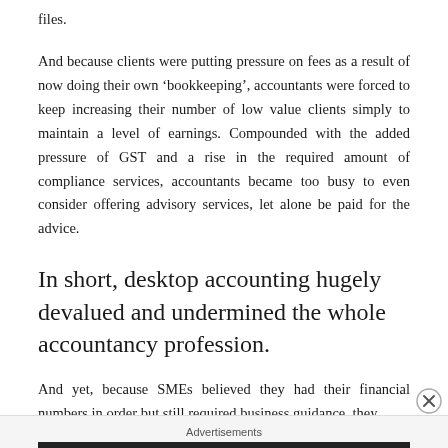files.
And because clients were putting pressure on fees as a result of now doing their own ‘bookkeeping’, accountants were forced to keep increasing their number of low value clients simply to maintain a level of earnings. Compounded with the added pressure of GST and a rise in the required amount of compliance services, accountants became too busy to even consider offering advisory services, let alone be paid for the advice.
In short, desktop accounting hugely devalued and undermined the whole accountancy profession.
And yet, because SMEs believed they had their financial numbers in order but still required business guidance, they
Advertisements